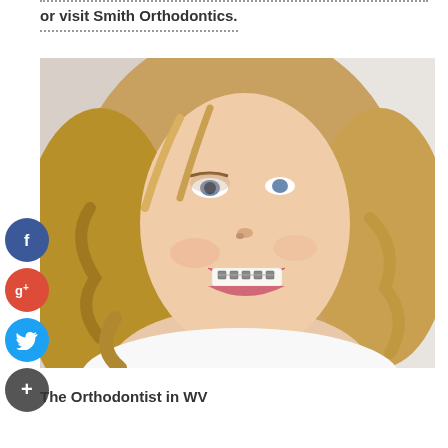or visit Smith Orthodontics.
[Figure (photo): Smiling woman with curly blonde hair wearing dental braces, looking upward, wearing white clothing]
The Orthodontist in WV